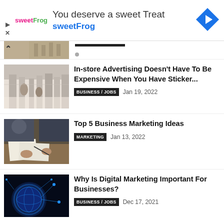[Figure (infographic): SweetFrog advertisement banner with logo, headline 'You deserve a sweet Treat', brand name 'sweetFrog', and navigation arrow icon]
[Figure (photo): Partial view of a retail store interior article thumbnail with chevron up arrow overlay]
In-store Advertising Doesn't Have To Be Expensive When You Have Sticker...
BUSINESS / JOBS   Jan 19, 2022
[Figure (photo): People working on marketing/design materials at a table, top-down view]
Top 5 Business Marketing Ideas
MARKETING   Jan 13, 2022
[Figure (photo): Digital globe with blue glowing network connections representing digital marketing]
Why Is Digital Marketing Important For Businesses?
BUSINESS / JOBS   Dec 17, 2021